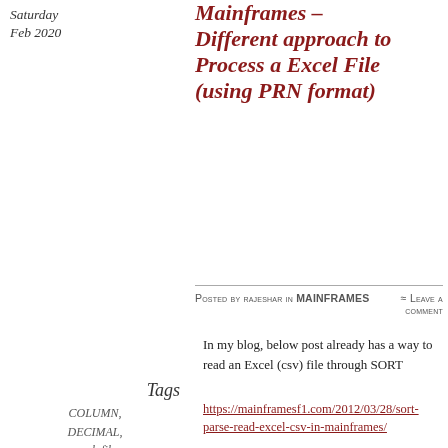Saturday Feb 2020
Mainframes – Different approach to Process a Excel File (using PRN format)
Posted by rajeshar in MAINFRAMES ≈ Leave a comment
In my blog, below post already has a way to read an Excel (csv) file through SORT
https://mainframesf1.com/2012/03/28/sort-parse-read-excel-csv-in-mainframes/
Other approach we use in our shop is provided below.
In the Excel file, for each column, set the column width by right clicking the column and choosing
Tags
COLUMN, DECIMAL, excel, file, format, ftp, justified, left, mainframe, MAINFRAMES,